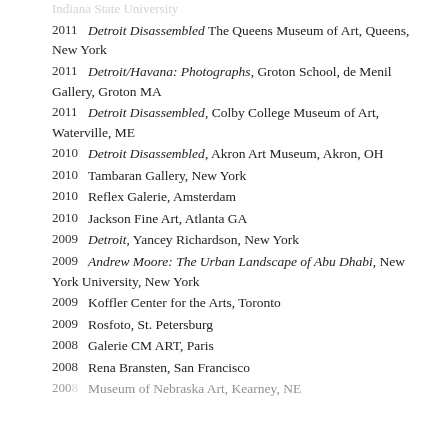Indiana State University
2011  Detroit Disassembled The Queens Museum of Art, Queens, New York
2011  Detroit/Havana: Photographs, Groton School, de Menil Gallery, Groton MA
2011  Detroit Disassembled, Colby College Museum of Art, Waterville, ME
2010  Detroit Disassembled, Akron Art Museum, Akron, OH
2010  Tambaran Gallery, New York
2010  Reflex Galerie, Amsterdam
2010  Jackson Fine Art, Atlanta GA
2009  Detroit, Yancey Richardson, New York
2009  Andrew Moore: The Urban Landscape of Abu Dhabi, New York University, New York
2009  Koffler Center for the Arts, Toronto
2009  Rosfoto, St. Petersburg
2008  Galerie CM ART, Paris
2008  Rena Bransten, San Francisco
2008  Museum of Nebraska Art, Kearney, NE